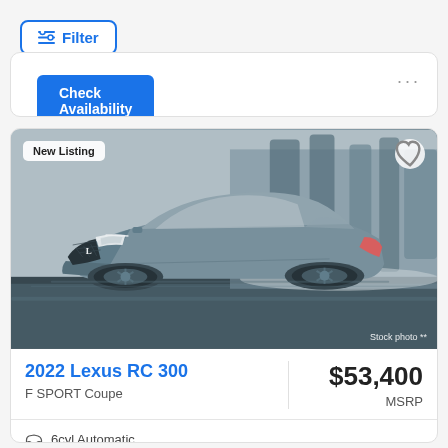≡ Filter
Check Availability
[Figure (photo): Grey Lexus RC 300 coupe driving on a road with blurred winter trees in the background. 'New Listing' badge in top-left, heart icon top-right, 'Stock photo **' watermark bottom-right.]
2022 Lexus RC 300
F SPORT Coupe
$53,400
MSRP
6cyl Automatic